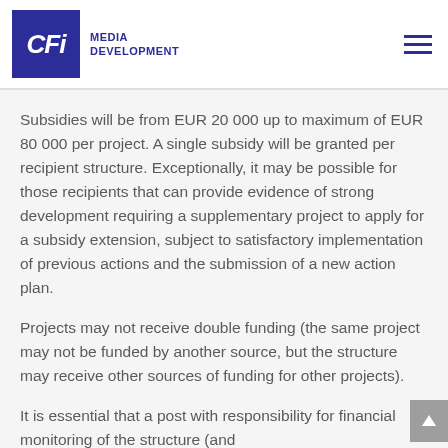CFI MEDIA DEVELOPMENT
Subsidies will be from EUR 20 000 up to maximum of EUR 80 000 per project. A single subsidy will be granted per recipient structure. Exceptionally, it may be possible for those recipients that can provide evidence of strong development requiring a supplementary project to apply for a subsidy extension, subject to satisfactory implementation of previous actions and the submission of a new action plan.
Projects may not receive double funding (the same project may not be funded by another source, but the structure may receive other sources of funding for other projects).
It is essential that a post with responsibility for financial monitoring of the structure (and...